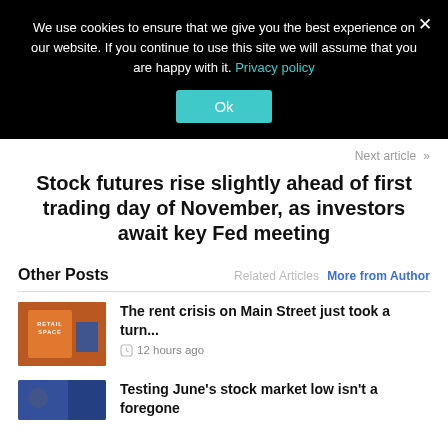We use cookies to ensure that we give you the best experience on our website. If you continue to use this site we will assume that you are happy with it. Privacy policy
Next article »
Stock futures rise slightly ahead of first trading day of November, as investors await key Fed meeting
Other Posts
Related Articles
More from Author
The rent crisis on Main Street just took a turn...
12 hours ago
Testing June's stock market low isn't a foregone